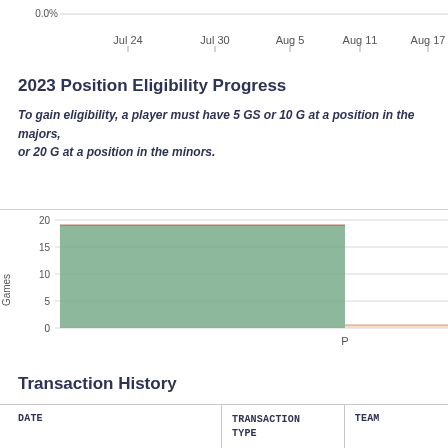[Figure (continuous-plot): Top of a time-series chart showing x-axis dates: Jul 24, Jul 30, Aug 5, Aug 11, Aug 17; y-axis shows 0.0%]
2023 Position Eligibility Progress
To gain eligibility, a player must have 5 GS or 10 G at a position in the majors, or 20 G at a position in the minors.
[Figure (bar-chart): Position Eligibility Games]
Transaction History
| DATE | TRANSACTION TYPE | TEAM |
| --- | --- | --- |
| November Tue 2021-11-30 Eli... |  |  |